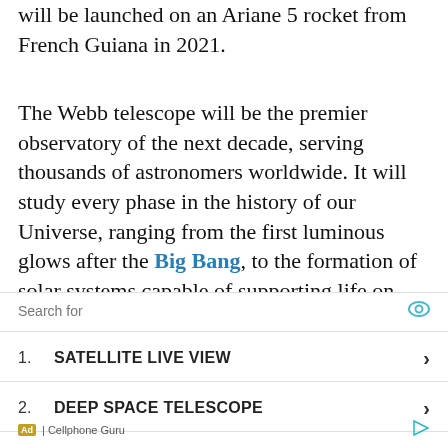will be launched on an Ariane 5 rocket from French Guiana in 2021.
The Webb telescope will be the premier observatory of the next decade, serving thousands of astronomers worldwide. It will study every phase in the history of our Universe, ranging from the first luminous glows after the Big Bang, to the formation of solar systems capable of supporting life on planets like Earth, to the evolution of our own Solar System.
The Webb telescope was formerly known as the “Next Generation Space Telescope” (NGST); it was renamed in September 2002 after a former NASA administrator, James Webb.
[Figure (other): Advertisement overlay showing 'Search for' bar with eye icon, two list items: 1. SATELLITE LIVE VIEW and 2. DEEP SPACE TELESCOPE with chevron arrows, and footer showing 'Ad | Cellphone Guru' with a play/external icon.]